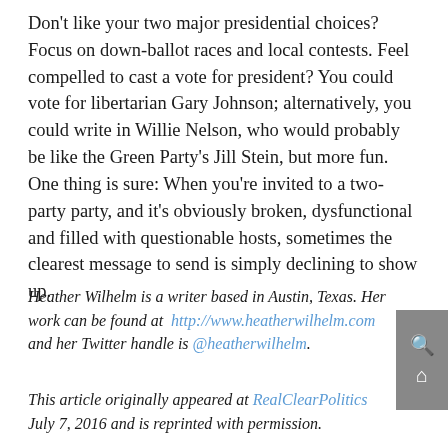Don't like your two major presidential choices? Focus on down-ballot races and local contests. Feel compelled to cast a vote for president? You could vote for libertarian Gary Johnson; alternatively, you could write in Willie Nelson, who would probably be like the Green Party's Jill Stein, but more fun. One thing is sure: When you're invited to a two-party party, and it's obviously broken, dysfunctional and filled with questionable hosts, sometimes the clearest message to send is simply declining to show up.
Heather Wilhelm is a writer based in Austin, Texas. Her work can be found at http://www.heatherwilhelm.com and her Twitter handle is @heatherwilhelm.
This article originally appeared at RealClearPolitics July 7, 2016 and is reprinted with permission.